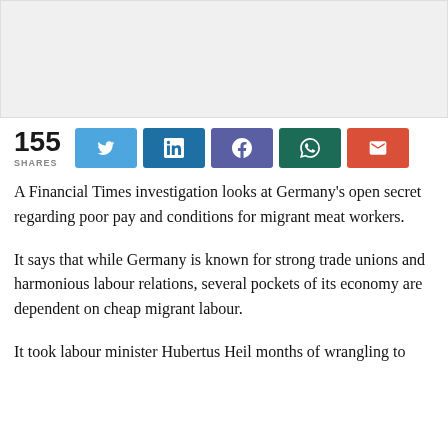[Figure (other): Gray advertisement banner placeholder at top of page]
155 SHARES — Share buttons: Twitter, LinkedIn, Facebook, WhatsApp, Email
A Financial Times investigation looks at Germany's open secret regarding poor pay and conditions for migrant meat workers.
It says that while Germany is known for strong trade unions and harmonious labour relations, several pockets of its economy are dependent on cheap migrant labour.
It took labour minister Hubertus Heil months of wrangling to